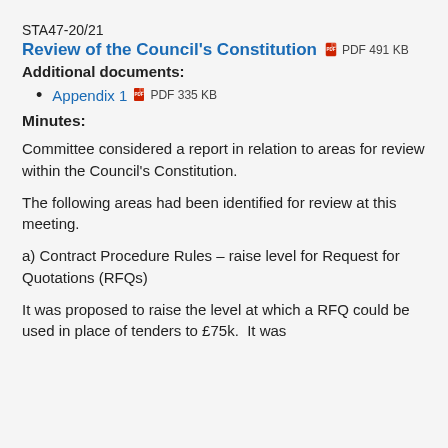STA47-20/21
Review of the Council's Constitution   PDF 491 KB
Additional documents:
Appendix 1   PDF 335 KB
Minutes:
Committee considered a report in relation to areas for review within the Council's Constitution.
The following areas had been identified for review at this meeting.
a) Contract Procedure Rules – raise level for Request for Quotations (RFQs)
It was proposed to raise the level at which a RFQ could be used in place of tenders to £75k.  It was ...